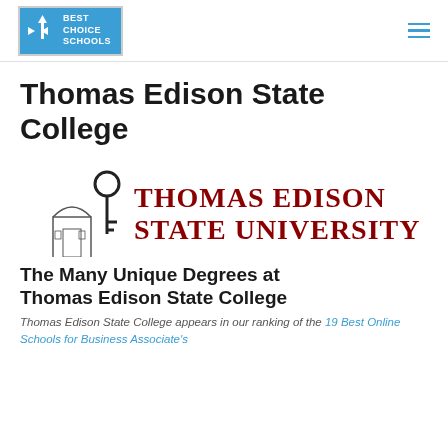Best Choice Schools
Thomas Edison State College
[Figure (logo): Thomas Edison State University logo featuring a key and archway illustration with dark red text reading THOMAS EDISON STATE UNIVERSITY]
The Many Unique Degrees at Thomas Edison State College
Thomas Edison State College appears in our ranking of the 19 Best Online Schools for Business Associate's